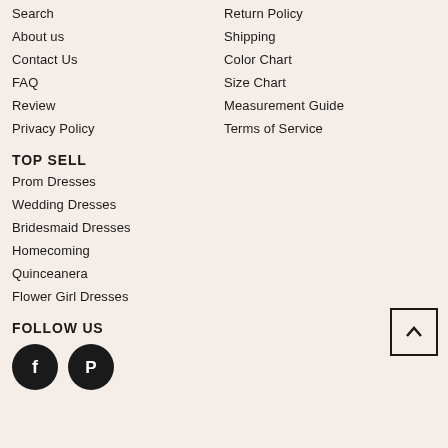Search
Return Policy
About us
Shipping
Contact Us
Color Chart
FAQ
Size Chart
Review
Measurement Guide
Privacy Policy
Terms of Service
TOP SELL
Prom Dresses
Wedding Dresses
Bridesmaid Dresses
Homecoming
Quinceanera
Flower Girl Dresses
FOLLOW US
[Figure (illustration): Facebook and Pinterest social media icon circles]